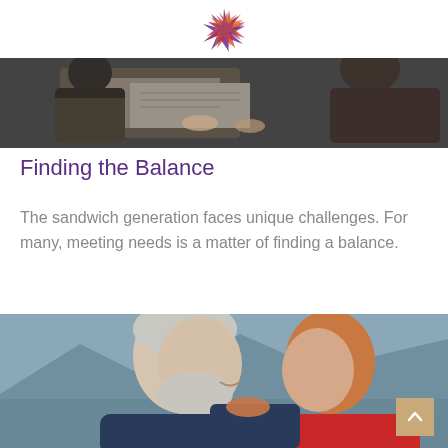[Figure (logo): Colorful star/spark logo in purple, red, orange colors centered at top]
[Figure (photo): Photo of two people reviewing documents together, top portion cropped]
Finding the Balance
The sandwich generation faces unique challenges. For many, meeting needs is a matter of finding a balance.
[Figure (photo): Outdoor photo of an older man with grey beard smiling, a woman with auburn hair behind him, mountains and water in background]